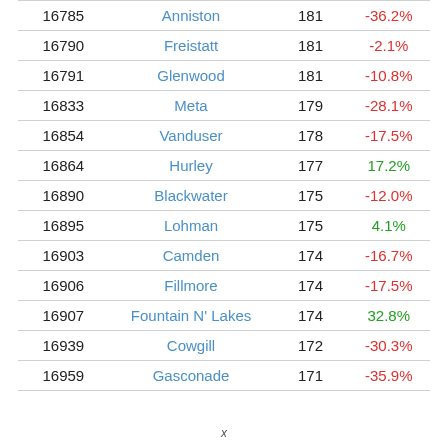|  |  |  |  |
| --- | --- | --- | --- |
| 16785 | Anniston | 181 | -36.2% |
| 16790 | Freistatt | 181 | -2.1% |
| 16791 | Glenwood | 181 | -10.8% |
| 16833 | Meta | 179 | -28.1% |
| 16854 | Vanduser | 178 | -17.5% |
| 16864 | Hurley | 177 | 17.2% |
| 16890 | Blackwater | 175 | -12.0% |
| 16895 | Lohman | 175 | 4.1% |
| 16903 | Camden | 174 | -16.7% |
| 16906 | Fillmore | 174 | -17.5% |
| 16907 | Fountain N' Lakes | 174 | 32.8% |
| 16939 | Cowgill | 172 | -30.3% |
| 16959 | Gasconade | 171 | -35.9% |